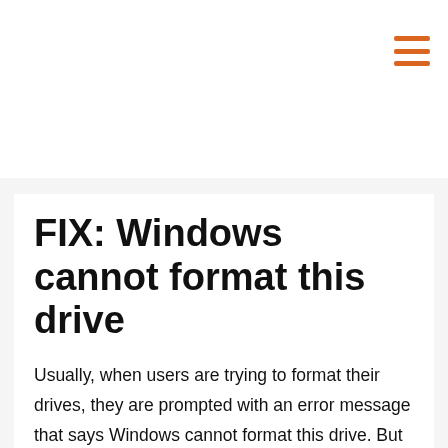FIX: Windows cannot format this drive
Usually, when users are trying to format their drives, they are prompted with an error message that says Windows cannot format this drive. But worry, not windowstan always has a solution for almost every windows error, and today we've compiled some solutions in this article that'll help you fix the